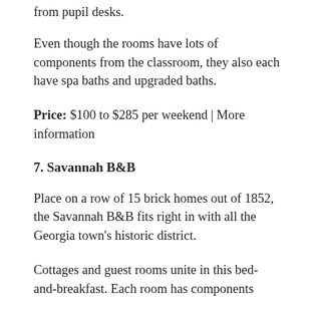from pupil desks.
Even though the rooms have lots of components from the classroom, they also each have spa baths and upgraded baths.
Price: $100 to $285 per weekend | More information
7. Savannah B&B
Place on a row of 15 brick homes out of 1852, the Savannah B&B fits right in with all the Georgia town's historic district.
Cottages and guest rooms unite in this bed-and-breakfast. Each room has components